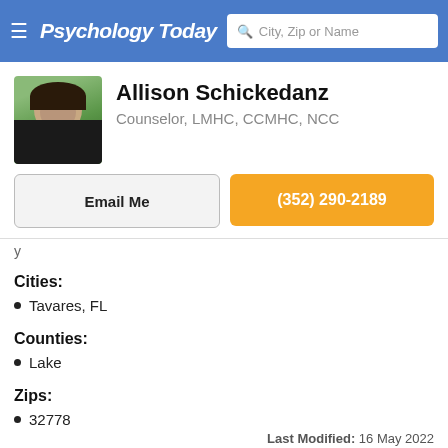Psychology Today — City, Zip or Name
Allison Schickedanz
Counselor, LMHC, CCMHC, NCC
Email Me
(352) 290-2189
Cities:
Tavares, FL
Counties:
Lake
Zips:
32778
Last Modified: 16 May 2022